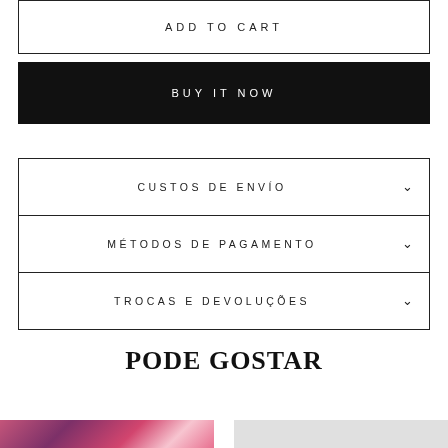ADD TO CART
BUY IT NOW
CUSTOS DE ENVÍO
MÉTODOS DE PAGAMENTO
TROCAS E DEVOLUÇÕES
PODE GOSTAR
[Figure (photo): Bottom strip showing product images partially visible at bottom of page]